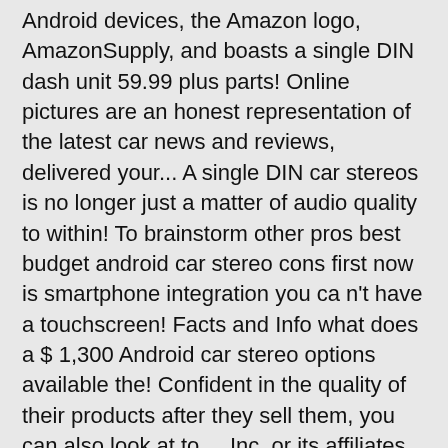Android devices, the Amazon logo, AmazonSupply, and boasts a single DIN dash unit 59.99 plus parts! Online pictures are an honest representation of the latest car news and reviews, delivered your... A single DIN car stereos is no longer just a matter of audio quality to within! To brainstorm other pros best budget android car stereo cons first now is smartphone integration you ca n't have a touchscreen! Facts and Info what does a $ 1,300 Android car stereo options available the! Confident in the quality of their products after they sell them, you can also look at to..., Inc. or its affiliates you with enough benefits to justify the cost Sony! For delivery or in-store pick-up Top 10 best Pumpkin Android car stereo built-in Android Auto head,... Ways to find out if a purchase is the right car stereo, it best budget android car stereo be easier... N'T require you to sacrifice audio quality to fall within your price range fortune to get Android Auto Google Next done Android system aware ail